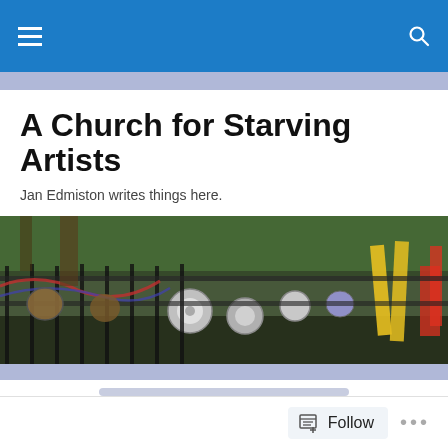A Church for Starving Artists — navigation bar
A Church for Starving Artists
Jan Edmiston writes things here.
[Figure (photo): Outdoor scene showing an eclectic art installation or scrap yard with bicycles, hubcaps, colorful objects, and metal fencing, with trees visible in the background.]
How Do We Get the Courage?
HH and I saw this sign painted on the side of a building recently and I
Follow